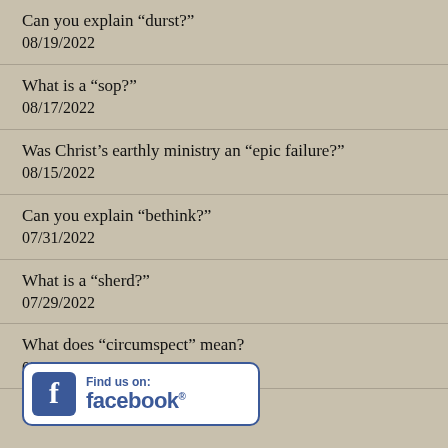Can you explain “durst?”
08/19/2022
What is a “sop?”
08/17/2022
Was Christ’s earthly ministry an “epic failure?”
08/15/2022
Can you explain “bethink?”
07/31/2022
What is a “sherd?”
07/29/2022
What does “circumspect” mean?
07/28/2022
[Figure (logo): Find us on Facebook badge with Facebook 'f' icon and text 'Find us on: facebook.']